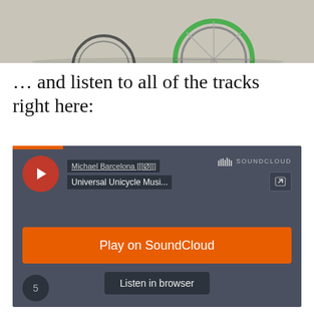[Figure (photo): Top portion of a photo showing a bicycle with green-rimmed wheels on a light-colored surface, cropped at top of page]
… and listen to all of the tracks right here:
[Figure (screenshot): SoundCloud embedded player widget with dark gray background. Shows artist 'Michael Barcelona [[[Ø]]]' and track 'Universal Unicycle Musi...' with a red circular play button, SoundCloud logo, orange 'Play on SoundCloud' button, 'Listen in browser' button, and a circular badge with number 5 at bottom left.]